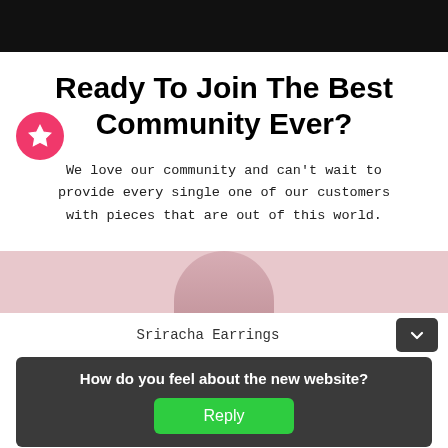[Figure (other): Black navigation bar at top of page]
Ready To Join The Best Community Ever?
We love our community and can't wait to provide every single one of our customers with pieces that are out of this world.
[Figure (illustration): Pink circular badge with white star icon on left side]
[Figure (photo): Pink background section with partial photo of person wearing earrings]
Sriracha Earrings
[Figure (other): Dark chevron/collapse button]
How do you feel about the new website?
Reply
[Figure (other): Green bar at bottom]